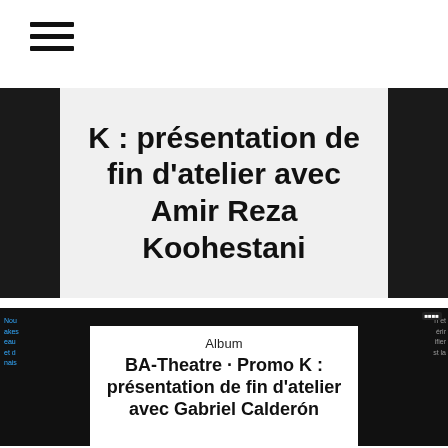[Figure (other): Hamburger menu icon — three horizontal black lines]
K : présentation de fin d'atelier avec Amir Reza Koohestani
[Figure (photo): Dark background photo of a theatre stage scene with white overlay card showing album label and title. Album label: 'Album'. Album title: 'BA-Theatre · Promo K : présentation de fin d'atelier avec Gabriel Calderón']